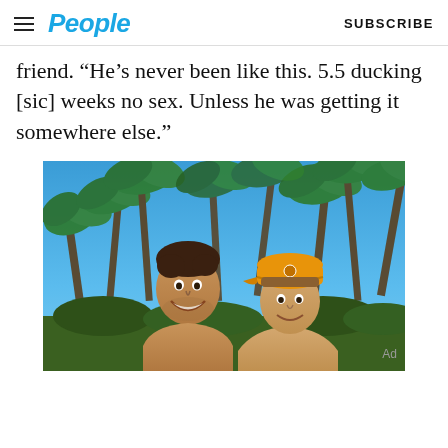People | SUBSCRIBE
friend. “He’s never been like this. 5.5 ducking [sic] weeks no sex. Unless he was getting it somewhere else.”
[Figure (photo): Two people smiling in a tropical outdoor setting with palm trees and blue sky. The person on the right is wearing an orange baseball cap.]